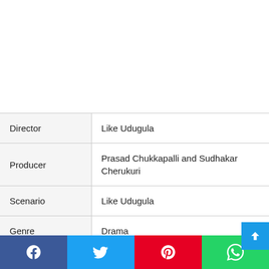|  |  |
| --- | --- |
| Director | Like Udugula |
| Producer | Prasad Chukkapalli and Sudhakar Cherukuri |
| Scenario | Like Udugula |
| Genre | Drama |